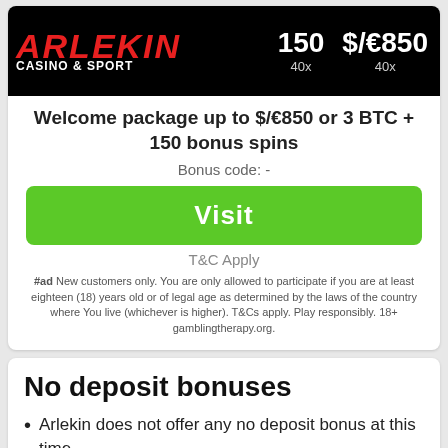[Figure (logo): Arlekin Casino & Sport logo on black background with stats: 150 spins, $/€850, 40x wagering]
Welcome package up to $/€850 or 3 BTC + 150 bonus spins
Bonus code: -
Visit
T&C Apply
#ad New customers only. You are only allowed to participate if you are at least eighteen (18) years old or of legal age as determined by the laws of the country where You live (whichever is higher). T&Cs apply. Play responsibly. 18+ gamblingtherapy.org.
No deposit bonuses
Arlekin does not offer any no deposit bonus at this time.